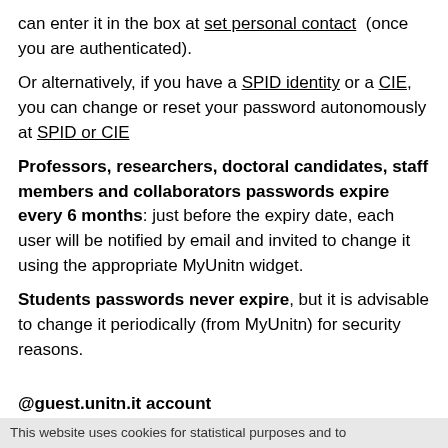can enter it in the box at set personal contact (once you are authenticated).
Or alternatively, if you have a SPID identity or a CIE, you can change or reset your password autonomously at SPID or CIE
Professors, researchers, doctoral candidates, staff members and collaborators passwords expire every 6 months: just before the expiry date, each user will be notified by email and invited to change it using the appropriate MyUnitn widget.
Students passwords never expire, but it is advisable to change it periodically (from MyUnitn) for security reasons.
@guest.unitn.it account
If you have a @guest.unitn.it account and you forgot your password, you can go to reset password and get a new one
This website uses cookies for statistical purposes and to